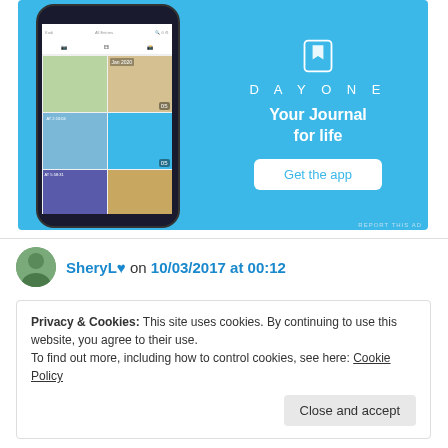[Figure (screenshot): DayOne app advertisement banner with blue background, phone mockup showing journal app UI on the left, and DayOne logo with tagline 'Your Journal for life' and 'Get the app' button on the right]
SheryL♥ on 10/03/2017 at 00:12
Privacy & Cookies: This site uses cookies. By continuing to use this website, you agree to their use.
To find out more, including how to control cookies, see here: Cookie Policy
Close and accept